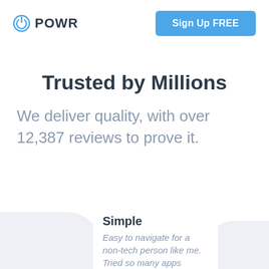POWR  Sign Up FREE
Trusted by Millions
We deliver quality, with over 12,387 reviews to prove it.
Simple
Easy to navigate for a non-tech person like me. Tried so many apps